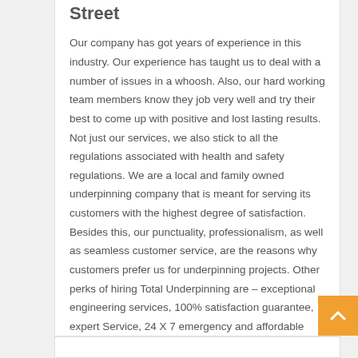Street
Our company has got years of experience in this industry. Our experience has taught us to deal with a number of issues in a whoosh. Also, our hard working team members know they job very well and try their best to come up with positive and lost lasting results. Not just our services, we also stick to all the regulations associated with health and safety regulations. We are a local and family owned underpinning company that is meant for serving its customers with the highest degree of satisfaction. Besides this, our punctuality, professionalism, as well as seamless customer service, are the reasons why customers prefer us for underpinning projects. Other perks of hiring Total Underpinning are – exceptional engineering services, 100% satisfaction guarantee, expert Service, 24 X 7 emergency and affordable services. Moreover, we also work over the weekend and arrange relevant permits and approvals on your behalf.